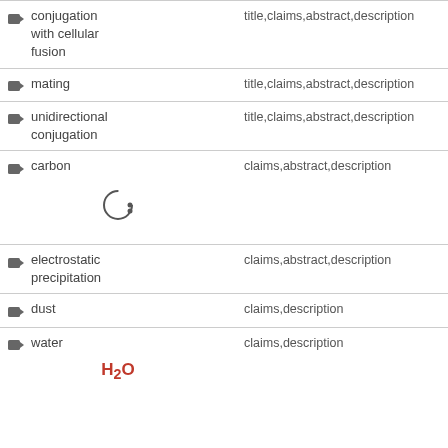conjugation with cellular fusion
mating
unidirectional conjugation
carbon
electrostatic precipitation
dust
water